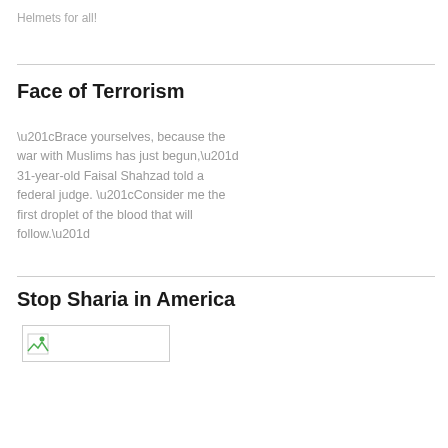Helmets for all!
Face of Terrorism
“Brace yourselves, because the war with Muslims has just begun,” 31-year-old Faisal Shahzad told a federal judge. “Consider me the first droplet of the blood that will follow.”
Stop Sharia in America
[Figure (photo): Broken image placeholder (image failed to load)]